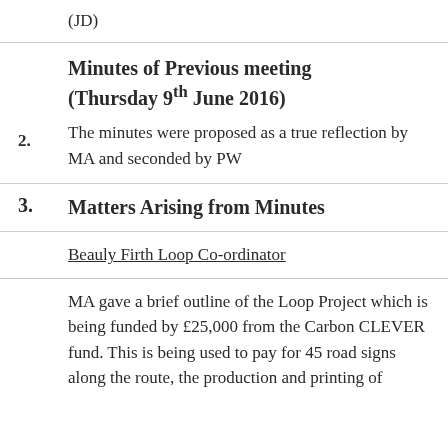(JD)
Minutes of Previous meeting (Thursday 9th June 2016)
2. The minutes were proposed as a true reflection by MA and seconded by PW
3. Matters Arising from Minutes
Beauly Firth Loop Co-ordinator
MA gave a brief outline of the Loop Project which is being funded by £25,000 from the Carbon CLEVER fund.   This is being used to pay for 45 road signs along the route, the production and printing of